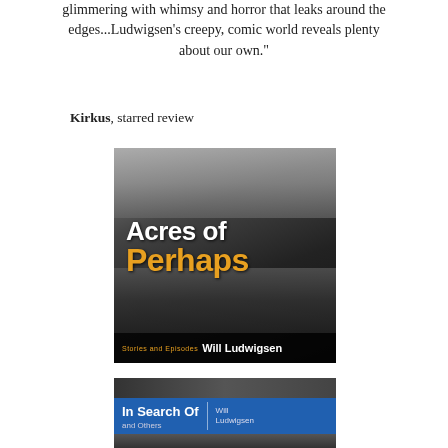glimmering with whimsy and horror that leaks around the edges...Ludwigsen's creepy, comic world reveals plenty about our own."
Kirkus, starred review
[Figure (illustration): Book cover of 'Acres of Perhaps' by Will Ludwigsen. Black and white photo of a man at a typewriter surrounded by dense foliage, with two figures visible at the top. Title 'Acres of' in white bold text and 'Perhaps' in orange bold text. Bottom bar reads 'Stories and Episodes Will Ludwigsen'.]
[Figure (illustration): Book cover of 'In Search Of and Others' by Will Ludwigsen. Dark photo background with a blue horizontal bar containing white text 'In Search Of' and subtitle 'and Others', with author name 'Will Ludwigsen' to the right.]